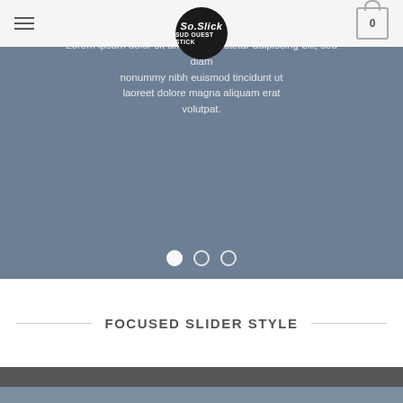[Figure (screenshot): Website header with hamburger menu icon on left, So Slick Sud Ouest Stick circular logo in center, and cart icon with 0 on right, on light grey background]
[Figure (screenshot): Hero image slider with blue-grey background showing partial title text 'SIMP...INER', subtitle lorem ipsum text, and three pagination dots at bottom]
FOCUSED SLIDER STYLE